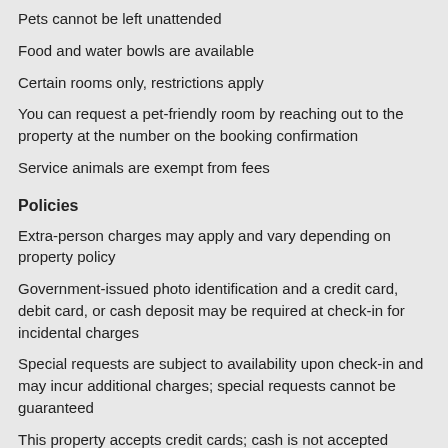Pets cannot be left unattended
Food and water bowls are available
Certain rooms only, restrictions apply
You can request a pet-friendly room by reaching out to the property at the number on the booking confirmation
Service animals are exempt from fees
Policies
Extra-person charges may apply and vary depending on property policy
Government-issued photo identification and a credit card, debit card, or cash deposit may be required at check-in for incidental charges
Special requests are subject to availability upon check-in and may incur additional charges; special requests cannot be guaranteed
This property accepts credit cards; cash is not accepted
Safety features at this property include a fire extinguisher and a smoke detector
Be prepared: check the latest COVID-19 travel requirements and measures in place for this destination before you travel.
Please note that cultural norms and guest policies may differ by country and by property; the policies listed are provided by the property